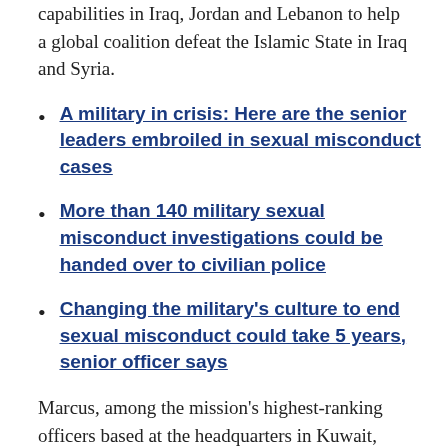capabilities in Iraq, Jordan and Lebanon to help a global coalition defeat the Islamic State in Iraq and Syria.
A military in crisis: Here are the senior leaders embroiled in sexual misconduct cases
More than 140 military sexual misconduct investigations could be handed over to civilian police
Changing the military's culture to end sexual misconduct could take 5 years, senior officer says
Marcus, among the mission's highest-ranking officers based at the headquarters in Kuwait, was responsible for aircraft, flight crew and other support personnel. As a commander, he could have been involved in